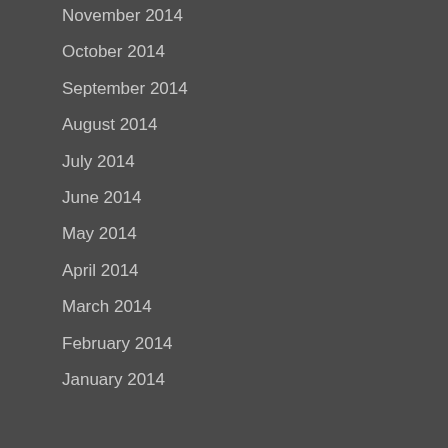November 2014
October 2014
September 2014
August 2014
July 2014
June 2014
May 2014
April 2014
March 2014
February 2014
January 2014